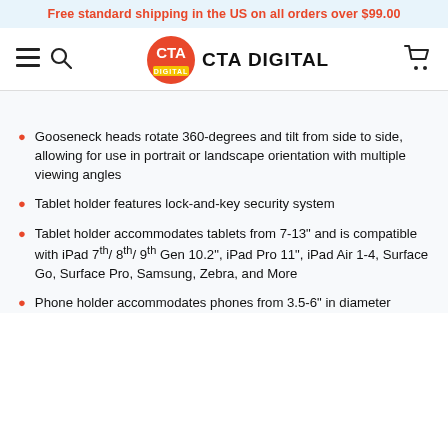Free standard shipping in the US on all orders over $99.00
[Figure (logo): CTA Digital logo with red circle containing CTA text and brand name CTA DIGITAL]
Gooseneck heads rotate 360-degrees and tilt from side to side, allowing for use in portrait or landscape orientation with multiple viewing angles
Tablet holder features lock-and-key security system
Tablet holder accommodates tablets from 7-13" and is compatible with iPad 7th/ 8th/ 9th Gen 10.2", iPad Pro 11", iPad Air 1-4, Surface Go, Surface Pro, Samsung, Zebra, and More
Phone holder accommodates phones from 3.5-6" in diameter